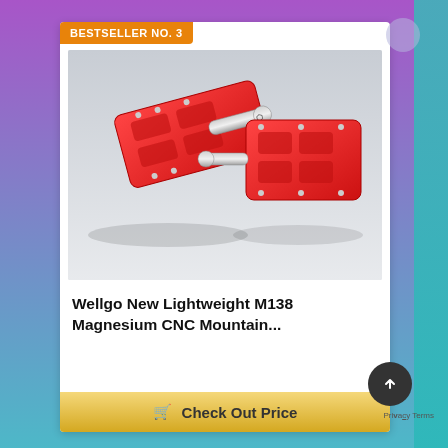BESTSELLER NO. 3
[Figure (photo): Two red Wellgo M138 Magnesium CNC mountain bike pedals on a white/gray background, shown from different angles with silver spindle bolts visible.]
Wellgo New Lightweight M138 Magnesium CNC Mountain...
Check Out Price